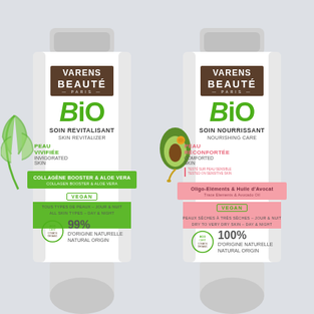[Figure (photo): Two Varens Beaute Paris BIO skincare tubes side by side on a light grey background. Left tube: white with green accents, 'Soin Revitalisant / Skin Revitalizer', Peau Vivifiée / Invigorated Skin, Collagene Booster & Aloe Vera, 99% D'origine Naturelle, Vegan, Cosmos Organic certified. Right tube: white with pink accents, 'Soin Nourrissant / Nourishing Care', Peau Réconfortée / Comforted Skin, Oligo-Elements & Huile d'Avocat / Trace Elements & Avocado Oil, 100% D'origine Naturelle, Vegan, Cosmos Organic certified.]